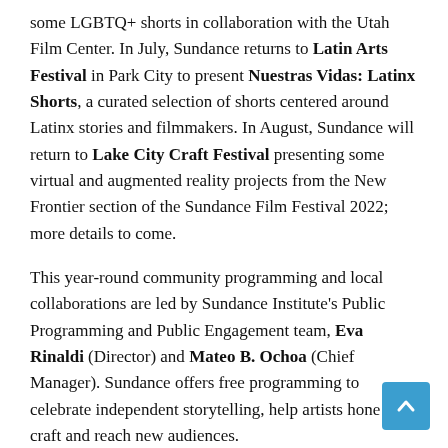some LGBTQ+ shorts in collaboration with the Utah Film Center. In July, Sundance returns to Latin Arts Festival in Park City to present Nuestras Vidas: Latinx Shorts, a curated selection of shorts centered around Latinx stories and filmmakers. In August, Sundance will return to Lake City Craft Festival presenting some virtual and augmented reality projects from the New Frontier section of the Sundance Film Festival 2022; more details to come.
This year-round community programming and local collaborations are led by Sundance Institute’s Public Programming and Public Engagement team, Eva Rinaldi (Director) and Mateo B. Ochoa (Chief Manager). Sundance offers free programming to celebrate independent storytelling, help artists hone their craft and reach new audiences.
“We are grateful to be in person to present a wide range of stories, short and feature films, as well as collaborations, to bring unique stories to our loyal festival-goers as well as new